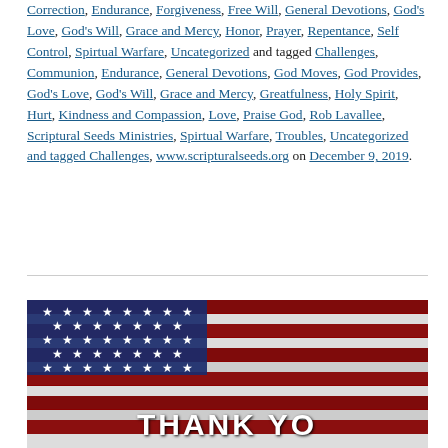Correction, Endurance, Forgiveness, Free Will, General Devotions, God's Love, God's Will, Grace and Mercy, Honor, Prayer, Repentance, Self Control, Spirtual Warfare, Uncategorized and tagged Challenges, Communion, Endurance, General Devotions, God Moves, God Provides, God's Love, God's Will, Grace and Mercy, Greatfulness, Holy Spirit, Hurt, Kindness and Compassion, Love, Praise God, Rob Lavallee, Scriptural Seeds Ministries, Spirtual Warfare, Troubles, Uncategorized and tagged Challenges, www.scripturalseeds.org on December 9, 2019.
[Figure (photo): Patriotic American flag themed image with stars and red/white/blue stripes, with 'THANK YOU' text overlaid at the bottom]